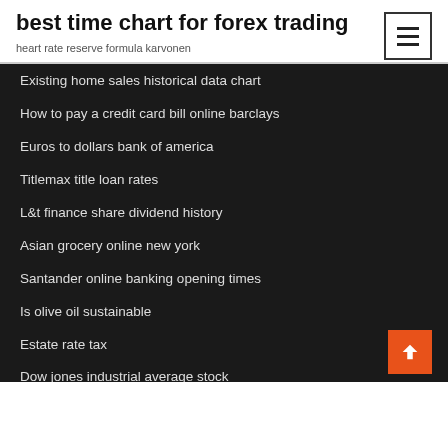best time chart for forex trading
heart rate reserve formula karvonen
Existing home sales historical data chart
How to pay a credit card bill online barclays
Euros to dollars bank of america
Titlemax title loan rates
L&t finance share dividend history
Asian grocery online new york
Santander online banking opening times
Is olive oil sustainable
Estate rate tax
Dow jones industrial average stock